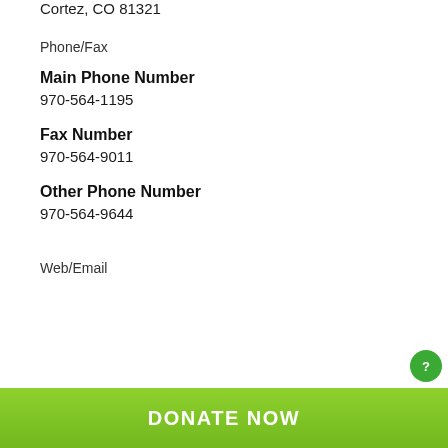Cortez, CO 81321
Phone/Fax
Main Phone Number
970-564-1195
Fax Number
970-564-9011
Other Phone Number
970-564-9644
Web/Email
DONATE NOW